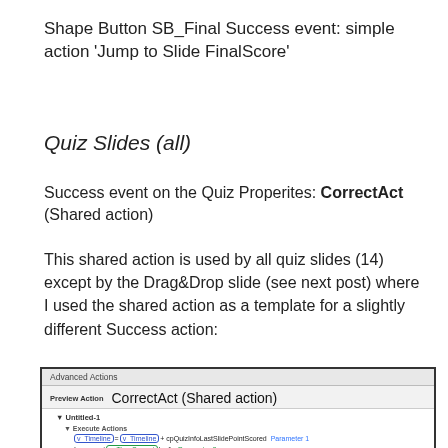Shape Button SB_Final Success event: simple action 'Jump to Slide FinalScore'
Quiz Slides (all)
Success event on the Quiz Properites: CorrectAct (Shared action)
This shared action is used by all quiz slides (14) except by the Drag&Drop slide (see next post) where I used the shared action as a template for a slightly different Success action:
[Figure (screenshot): Advanced Actions dialog showing CorrectAct (Shared action) with Untitled-1 group, Execute Actions including v_Timeline and v_TimeCorrect increment actions with Parameter 1 and Parameter 2 labels, and v_TimeMax row.]